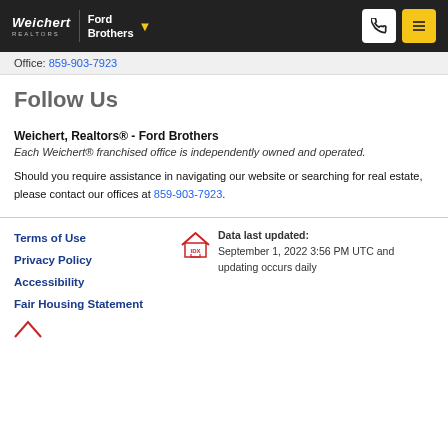Weichert | Ford Brothers
Office: 859-903-7923
Follow Us
Weichert, Realtors® - Ford Brothers
Each Weichert® franchised office is independently owned and operated.
Should you require assistance in navigating our website or searching for real estate, please contact our offices at 859-903-7923.
Terms of Use
Privacy Policy
Accessibility
Fair Housing Statement
Data last updated: September 1, 2022 3:56 PM UTC and updating occurs daily